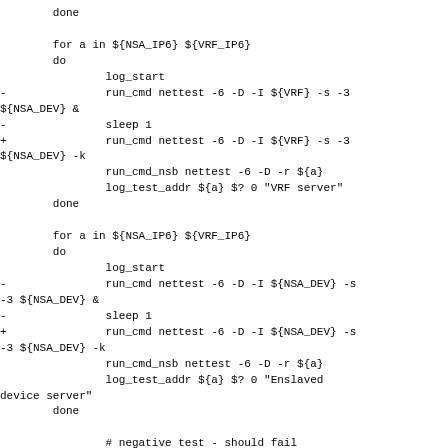done

        for a in ${NSA_IP6} ${VRF_IP6}
        do
                log_start
-               run_cmd nettest -6 -D -I ${VRF} -s -3 ${NSA_DEV} &
-               sleep 1
+               run_cmd nettest -6 -D -I ${VRF} -s -3 ${NSA_DEV} -k
                run_cmd_nsb nettest -6 -D -r ${a}
                log_test_addr ${a} $? 0 "VRF server"
        done

        for a in ${NSA_IP6} ${VRF_IP6}
        do
                log_start
-               run_cmd nettest -6 -D -I ${NSA_DEV} -s -3 ${NSA_DEV} &
-               sleep 1
+               run_cmd nettest -6 -D -I ${NSA_DEV} -s -3 ${NSA_DEV} -k
                run_cmd_nsb nettest -6 -D -r ${a}
                log_test_addr ${a} $? 0 "Enslaved device server"
        done

                # negative test - should fail
@@ -3161,23 +2988,21 @@ ipv6_udp_vrf()